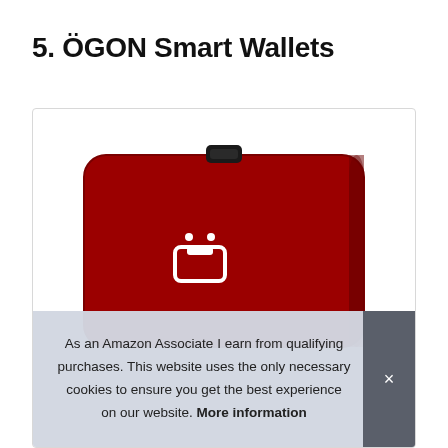5. ÖGON Smart Wallets
[Figure (photo): Red ÖGON smart wallet card holder with black clasp at top and white ÖGON logo icon on front, shown against white background inside a light-bordered box]
As an Amazon Associate I earn from qualifying purchases. This website uses the only necessary cookies to ensure you get the best experience on our website. More information